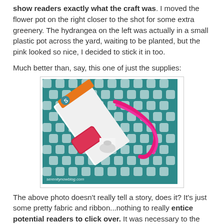show readers exactly what the craft was. I moved the flower pot on the right closer to the shot for some extra greenery. The hydrangea on the left was actually in a small plastic pot across the yard, waiting to be planted, but the pink looked so nice, I decided to stick it in too.
Much better than, say, this one of just the supplies:
[Figure (photo): Photo of craft supplies including a white box/packaging, pink ribbon, a spool of white thread, and a red item arranged on teal and white geometric patterned fabric. Watermark reads serenitynowblog.com]
The above photo doesn't really tell a story, does it? It's just some pretty fabric and ribbon...nothing to really entice potential readers to click over. It was necessary to the tutorial, but not my best choice for a blog party thumbnail.